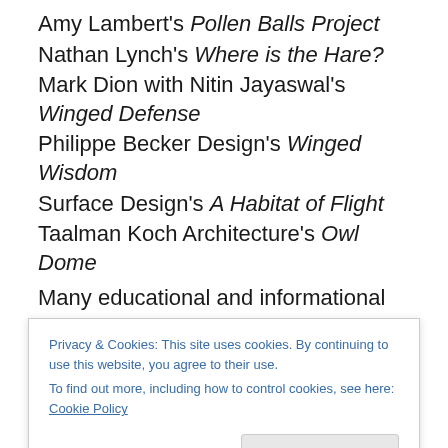Amy Lambert's Pollen Balls Project
Nathan Lynch's Where is the Hare?
Mark Dion with Nitin Jayaswal's Winged Defense
Philippe Becker Design's Winged Wisdom
Surface Design's A Habitat of Flight
Taalman Koch Architecture's Owl Dome
Many educational and informational programs and displays accompany the exhibition including a 1,300-square-foot exhibition space by Ogrydziak / Prillinger Architects, which features all twenty-five proposals originally submitted (from which the eleven were chosen)
Privacy & Cookies: This site uses cookies. By continuing to use this website, you agree to their use.
To find out more, including how to control cookies, see here: Cookie Policy